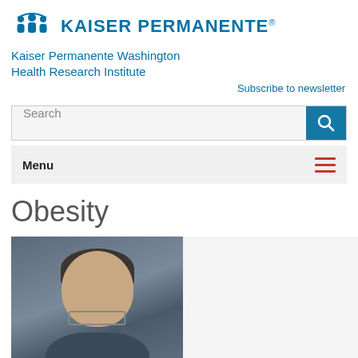[Figure (logo): Kaiser Permanente logo with blue figures icon and text 'KAISER PERMANENTE®']
Kaiser Permanente Washington Health Research Institute
Subscribe to newsletter
Search
Menu
Obesity
[Figure (photo): Portrait photo of a man with glasses and short gray-brown hair, wearing a dark jacket, smiling slightly against a gray background]